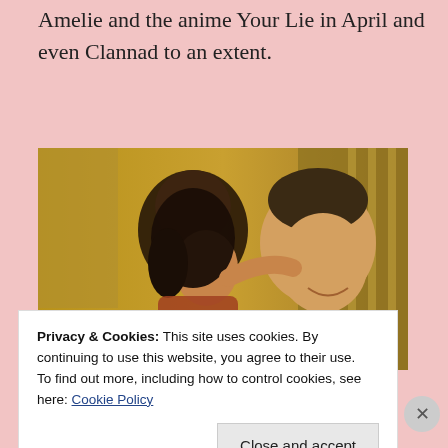Amelie and the anime Your Lie in April and even Clannad to an extent.
[Figure (photo): A couple — a dark-haired woman leaning her head near a smiling man's shoulder — photographed outdoors with a warm yellow-orange tone.]
Originally posted by firatdere
Privacy & Cookies: This site uses cookies. By continuing to use this website, you agree to their use.
To find out more, including how to control cookies, see here: Cookie Policy
Close and accept